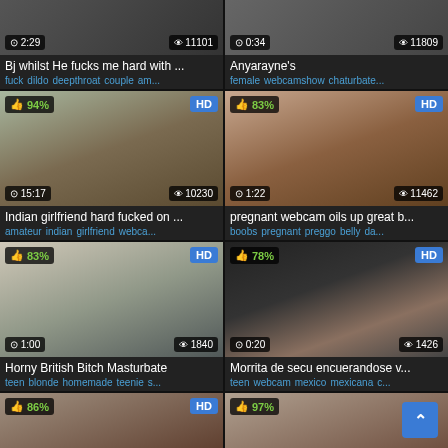[Figure (screenshot): Video thumbnail grid showing adult video website with 6 visible video cards in 2-column layout]
Bj whilst He fucks me hard with ...
fuck dildo deepthroat couple am...
Anyarayne's
female webcamshow chaturbate...
Indian girlfriend hard fucked on ...
amateur indian girlfriend webca...
pregnant webcam oils up great b...
boobs pregnant preggo belly da...
Horny British Bitch Masturbate
teen blonde homemade teenie s...
Morrita de secu encuerandose v...
teen webcam mexico mexicana c...